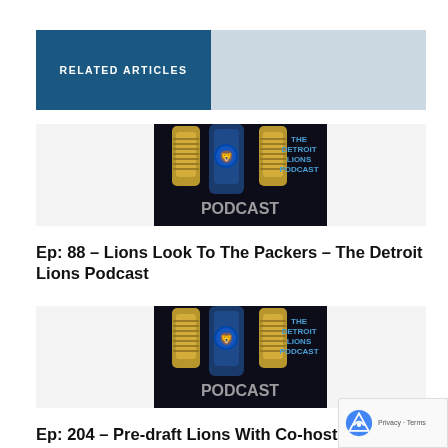RELATED ARTICLES
[Figure (photo): The Detroit Lions Podcast cover art showing microphones with 'THE DETROIT LIONS PODCAST' and 'PODCAST' text on dark background]
Ep: 88 – Lions Look To The Packers – The Detroit Lions Podcast
[Figure (photo): The Detroit Lions Podcast cover art showing microphones with 'THE DETROIT LIONS PODCAST' and 'PODCAST' text on dark background]
Ep: 204 – Pre-draft Lions With Co-host